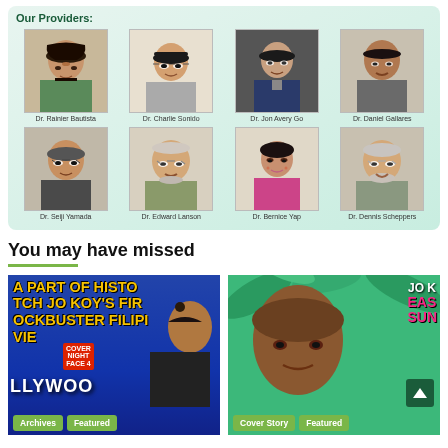[Figure (photo): Providers section with 8 doctor photos in a 4x2 grid on a teal/green gradient background. Row 1: Dr. Rainier Bautista, Dr. Charlie Sonido, Dr. Jon Avery Go, Dr. Daniel Gallares. Row 2: Dr. Seiji Yamada, Dr. Edward Lanson, Dr. Bernice Yap, Dr. Dennis Scheppers.]
You may have missed
[Figure (photo): Movie promotional image with text 'A PART OF HISTO TCH JO KOY'S FIR OCKBUSTER FILIPI VIE' with 'COVER NIGHT FACE 4' badge, 'LLYWOOD' text, and a man styling hair. Tags: Archives, Featured.]
[Figure (photo): Jo Koy promotional image with tropical green background, 'JO K' and 'EAS' 'SUN' text in pink, a bald man's face. Tags: Cover Story, Featured.]